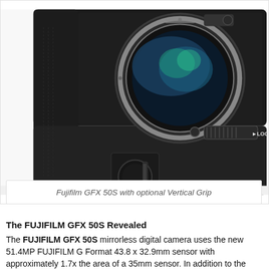[Figure (photo): Close-up front view of a Fujifilm GFX 50S mirrorless camera with an optional vertical battery grip attached. The camera body is black with textured grip. A large circular lens mount with a blue/green sensor visible is shown. A dial and LOCK label are visible on the right side.]
Fujifilm GFX 50S with optional Vertical Grip
The FUJIFILM GFX 50S Revealed
The FUJIFILM GFX 50S mirrorless digital camera uses the new 51.4MP FUJIFILM G Format 43.8 x 32.9mm sensor with approximately 1.7x the area of a 35mm sensor. In addition to the camera are three new FUJINON GF Lenses that will be followed by three additional lenses later in 2017.
The GFX 50S IBIS...